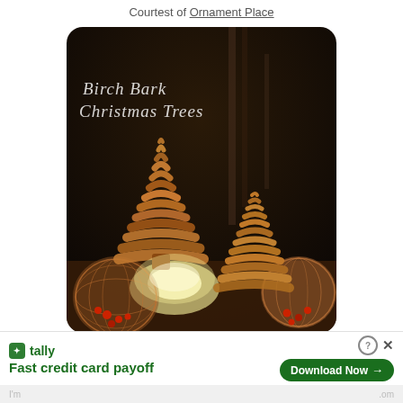Courtest of Ornament Place
[Figure (photo): Photo of birch bark Christmas trees made from layered bark pieces, displayed with glittery ornament balls and warm lighting. Text overlay reads 'Birch Bark Christmas Trees' in cursive white lettering.]
[Figure (screenshot): Advertisement for Tally app: logo with green icon, tagline 'Fast credit card payoff', Download Now button, help and close buttons.]